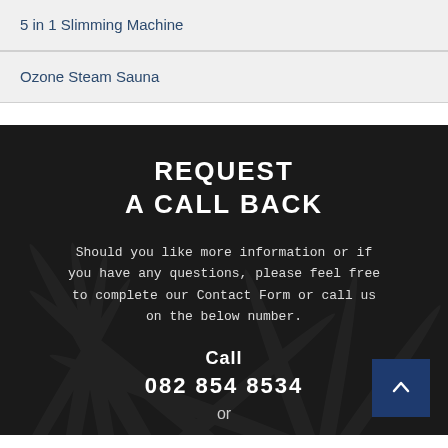5 in 1 Slimming Machine
Ozone Steam Sauna
REQUEST A CALL BACK
Should you like more information or if you have any questions, please feel free to complete our Contact Form or call us on the below number.
Call
082 854 8534
or